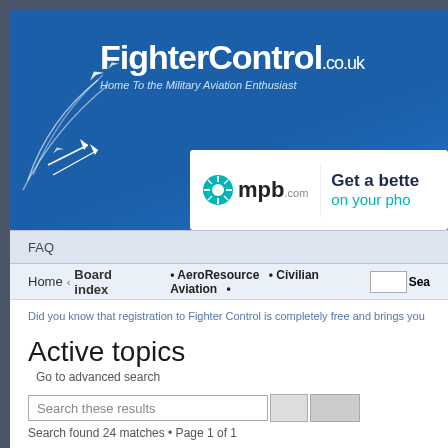[Figure (logo): FighterControl.co.uk logo — Home To the Military Aviation Enthusiast — blue banner with aircraft silhouettes and curved flight path lines]
[Figure (logo): mpb.com advertisement banner — Get a better deal on your phone]
FAQ
Home › Board index • AeroResource • Civilian Aviation • Sear
Did you know that registration to Fighter Control is completely free and brings you lo
Active topics
Go to advanced search
Search these results
Search found 24 matches • Page 1 of 1